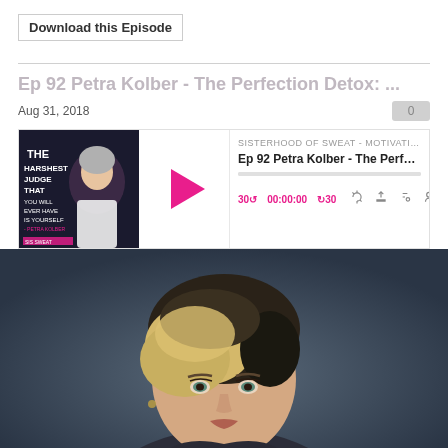Download this Episode
Ep 92 Petra Kolber - The Perfection Detox: ...
Aug 31, 2018
0
[Figure (screenshot): Podcast player widget showing Sisterhood of Sweat podcast episode 92 Petra Kolber - The Perfecti... with play button, timestamp 00:00:00, skip controls 30s back and forward, and media control icons]
[Figure (photo): Close-up photo of a blonde woman with short hair against a dark blue/grey background, cropped at neck/shoulders]